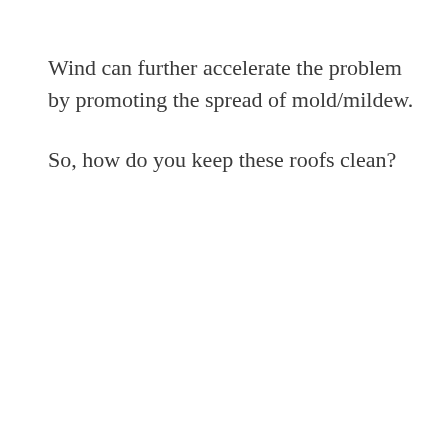Wind can further accelerate the problem by promoting the spread of mold/mildew.
So, how do you keep these roofs clean?